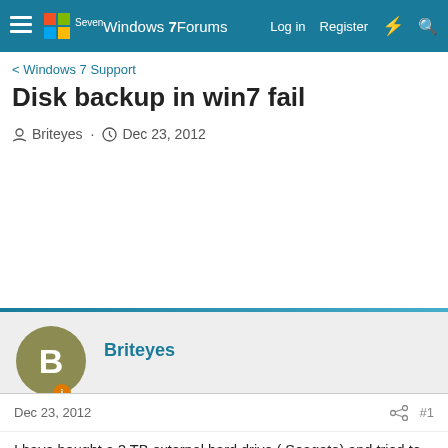Windows 7 Forums — Log in  Register
< Windows 7 Support
Disk backup in win7 fail
Briteyes · Dec 23, 2012
Briteyes
Dec 23, 2012  #1
I have bought a 3TB external hard drive ( Seagate) and tried to do a system image in Win7 to this drive. the folders created include a folder called WindowsImageBackup, with